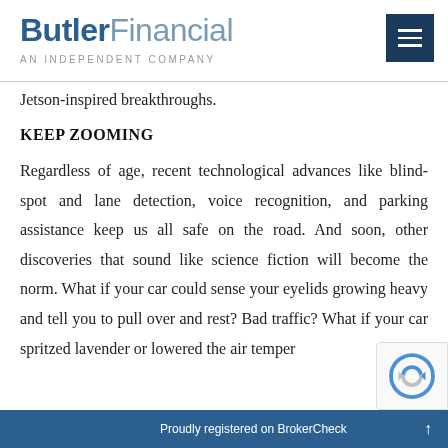Butler Financial — AN INDEPENDENT COMPANY
Jetson-inspired breakthroughs.
KEEP ZOOMING
Regardless of age, recent technological advances like blind-spot and lane detection, voice recognition, and parking assistance keep us all safe on the road. And soon, other discoveries that sound like science fiction will become the norm. What if your car could sense your eyelids growing heavy and tell you to pull over and rest? Bad traffic? What if your car spritzed lavender or lowered the air temper
Proudly registered on BrokerCheck ↑